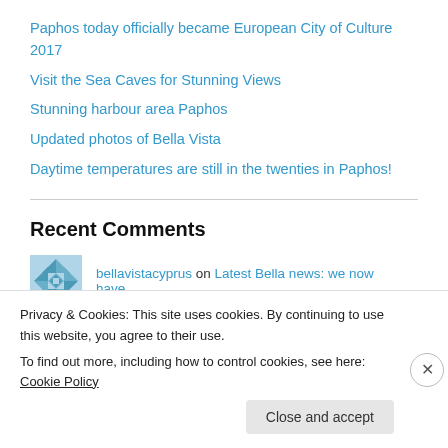Paphos today officially became European City of Culture 2017
Visit the Sea Caves for Stunning Views
Stunning harbour area Paphos
Updated photos of Bella Vista
Daytime temperatures are still in the twenties in Paphos!
Recent Comments
bellavistacyprus on Latest Bella news: we now have…
Bill on Latest Bella news: we now have…
Privacy & Cookies: This site uses cookies. By continuing to use this website, you agree to their use.
To find out more, including how to control cookies, see here: Cookie Policy
Close and accept